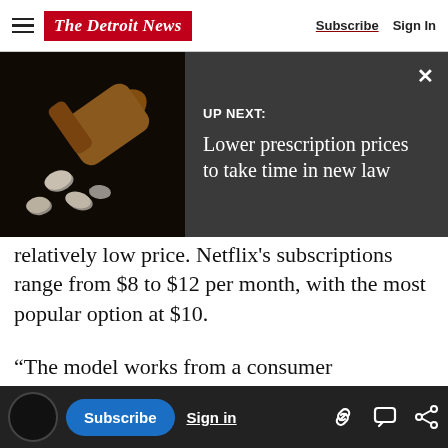The Detroit News | Subscribe | Sign In
[Figure (screenshot): UP NEXT banner with pill bottle image and headline: Lower prescription prices to take time in new law]
relatively low price. Netflix's subscriptions range from $8 to $12 per month, with the most popular option at $10.
“The model works from a consumer perspective because it is such a good value,” Pachter said
This article is free to the community. $22 for 2 Years. Subscribe now
ogramming costs rise in tandem with its appeal i...
money as more people subscribe to channels to in